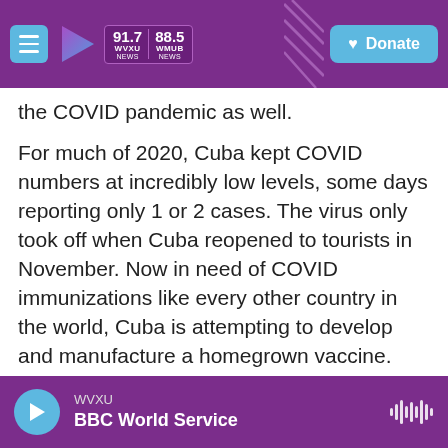91.7 WVXU NEWS | 88.5 WHUB NEWS | Donate
the COVID pandemic as well.
For much of 2020, Cuba kept COVID numbers at incredibly low levels, some days reporting only 1 or 2 cases. The virus only took off when Cuba reopened to tourists in November. Now in need of COVID immunizations like every other country in the world, Cuba is attempting to develop and manufacture a homegrown vaccine.
Earlier this month, Dagmar Garcia Rivera, the research director at the Finlay Vaccine Institute in Havana, announced that one of Cuba's five vaccine candidates, the Soberano 2, appears to be highly
WVXU | BBC World Service